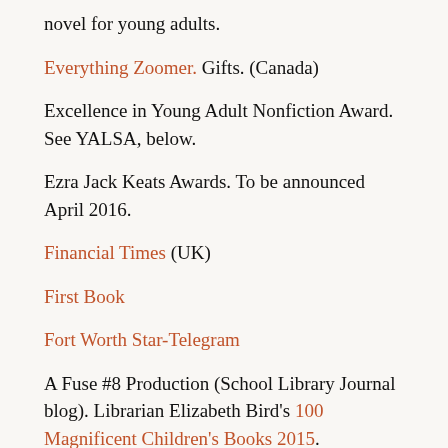novel for young adults.
Everything Zoomer. Gifts. (Canada)
Excellence in Young Adult Nonfiction Award. See YALSA, below.
Ezra Jack Keats Awards. To be announced April 2016.
Financial Times (UK)
First Book
Fort Worth Star-Telegram
A Fuse #8 Production (School Library Journal blog). Librarian Elizabeth Bird's 100 Magnificent Children's Books 2015.
#GayYABookClub. 2015 Favorites from a Twitter chat, via Storify.